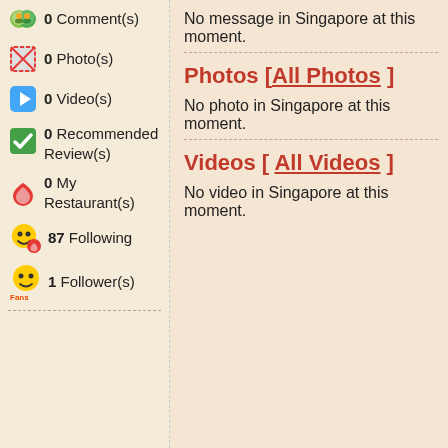0 Comment(s)
0 Photo(s)
0 Video(s)
0 Recommended Review(s)
0 My Restaurant(s)
87 Following
1 Follower(s)
No message in Singapore at this moment.
Photos [ All Photos ]
No photo in Singapore at this moment.
Videos [ All Videos ]
No video in Singapore at this moment.